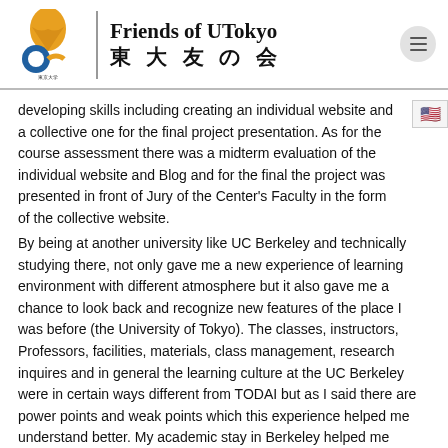[Figure (logo): Friends of UTokyo logo with ginkgo leaf in gold and blue circle, Japanese text 東京大学 THE UNIVERSITY OF TOKYO]
Friends of UTokyo 東 大 友 の 会
developing skills including creating an individual website and a collective one for the final project presentation. As for the course assessment there was a midterm evaluation of the individual website and Blog and for the final the project was presented in front of Jury of the Center's Faculty in the form of the collective website.
By being at another university like UC Berkeley and technically studying there, not only gave me a new experience of learning environment with different atmosphere but it also gave me a chance to look back and recognize new features of the place I was before (the University of Tokyo). The classes, instructors, Professors, facilities, materials, class management, research inquires and in general the learning culture at the UC Berkeley were in certain ways different from TODAI but as I said there are power points and weak points which this experience helped me understand better. My academic stay in Berkeley helped me